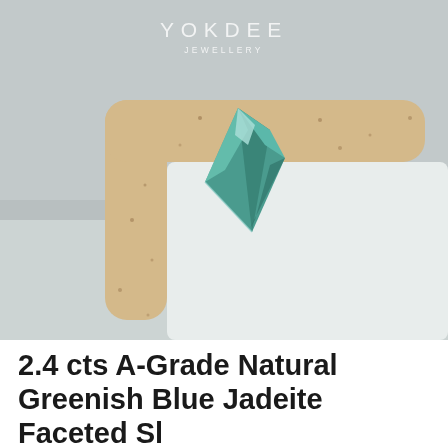[Figure (photo): Product photo of a greenish-blue jadeite gemstone in a kite/diamond cut shape, resting on the corner of a beige speckled ceramic tray against a light grey background. The Yokdee Jewellery watermark is overlaid in white on the upper portion of the image.]
2.4 cts A-Grade Natural Greenish Blue Jadeite Faceted Sl...